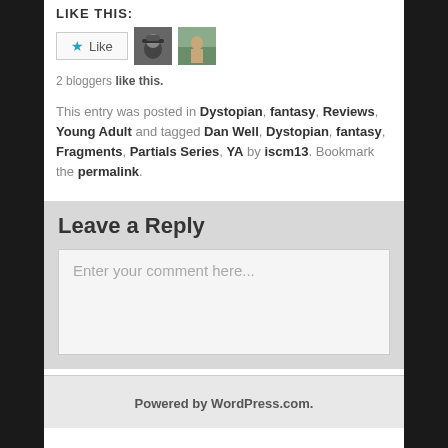LIKE THIS:
[Figure (screenshot): Like button with blue star and two blogger avatars]
2 bloggers like this.
This entry was posted in Dystopian, fantasy, Reviews, Young Adult and tagged Dan Well, Dystopian, fantasy, Fragments, Partials Series, YA by iscm13. Bookmark the permalink.
Leave a Reply
Enter your comment here...
Powered by WordPress.com.